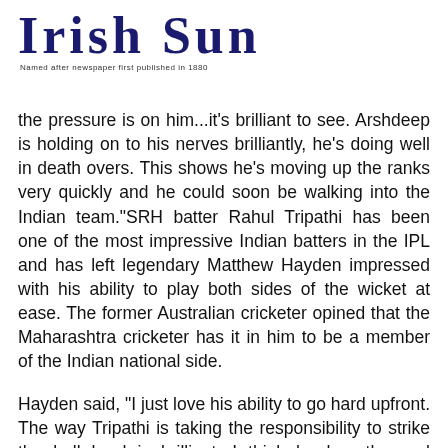Irish Sun
Named after newspaper first published in 1880
the pressure is on him...it's brilliant to see. Arshdeep is holding on to his nerves brilliantly, he's doing well in death overs. This shows he's moving up the ranks very quickly and he could soon be walking into the Indian team."SRH batter Rahul Tripathi has been one of the most impressive Indian batters in the IPL and has left legendary Matthew Hayden impressed with his ability to play both sides of the wicket at ease. The former Australian cricketer opined that the Maharashtra cricketer has it in him to be a member of the Indian national side.
Hayden said, "I just love his ability to go hard upfront. The way Tripathi is taking the responsibility to strike the ball hard is brilliant. I think he has the real potential in the future to go all the way to the